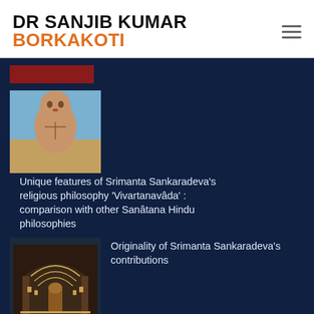DR SANJIB KUMAR BORKAKOTI
[Figure (illustration): Thumbnail image of Srimanta Sankaradeva (a saint figure illustration)]
Unique features of Srimanta Sankaradeva's religious philosophy 'Vivartanavâda' : comparison with other Sanâtana Hindu philosophies
[Figure (photo): Thumbnail image of a temple/shrine interior (Sankaradeva's contributions)]
Originality of Srimanta Sankaradeva's contributions
© 2020, Dr. Sanjib Kumar Borkakoti | All rights reserved
Designed by Ashim Dutta